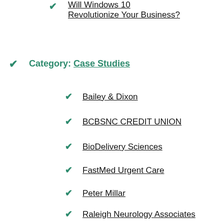Will Windows 10 Revolutionize Your Business?
Category: Case Studies
Bailey & Dixon
BCBSNC CREDIT UNION
BioDelivery Sciences
FastMed Urgent Care
Peter Millar
Raleigh Neurology Associates
Wake Health Services